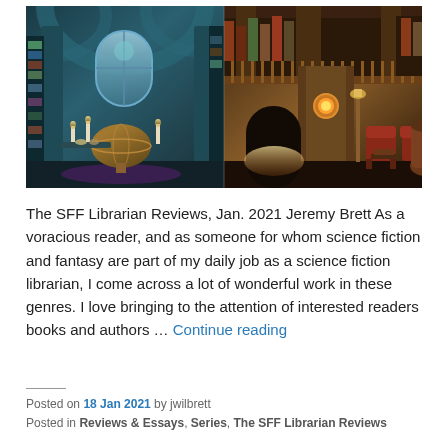[Figure (illustration): Fantasy library composite image: left half shows a teal/blue-toned magical library with arched stone ceilings, bookshelves, a large globe, candles, and a stained glass window; right half shows a warm amber-toned ornate wooden library with multiple levels, railings, a glowing medallion on a pillar, red chairs, and decorative vases.]
The SFF Librarian Reviews, Jan. 2021 Jeremy Brett As a voracious reader, and as someone for whom science fiction and fantasy are part of my daily job as a science fiction librarian, I come across a lot of wonderful work in these genres. I love bringing to the attention of interested readers books and authors … Continue reading
Posted on 18 Jan 2021 by jwilbrett
Posted in Reviews & Essays, Series, The SFF Librarian Reviews